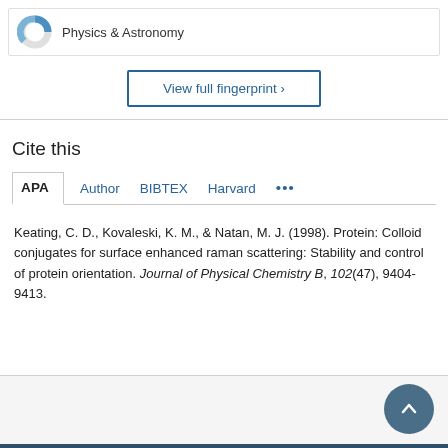[Figure (donut-chart): Partial donut/pie chart icon representing Physics & Astronomy subject area]
Physics & Astronomy
View full fingerprint ›
Cite this
APA  Author  BIBTEX  Harvard  ...
Keating, C. D., Kovaleski, K. M., & Natan, M. J. (1998). Protein: Colloid conjugates for surface enhanced raman scattering: Stability and control of protein orientation. Journal of Physical Chemistry B, 102(47), 9404-9413.